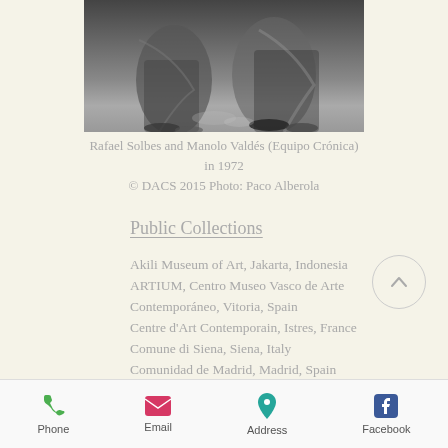[Figure (photo): Black and white photo showing lower portions of figures in traditional costumes/garments, partially cropped]
Rafael Solbes and Manolo Valdés (Equipo Crónica) in 1972
© DACS 2015 Photo: Paco Alberola
Public Collections
Akili Museum of Art, Jakarta, Indonesia
ARTIUM, Centro Museo Vasco de Arte Contemporáneo, Vitoria, Spain
Centre d'Art Contemporain, Istres, France
Comune di Siena, Siena, Italy
Comunidad de Madrid, Madrid, Spain
Congreso de los Diputados, Madrid, Spain
Diputación Provincial de Valencia, Valencia, Spain
Fonds National d'Arts Plastiques, Paris, France
Foundation Veranneman, Kruishoutem, Belgium
FracCollection Aquitaine, Aquitaine, France
Phone  Email  Address  Facebook